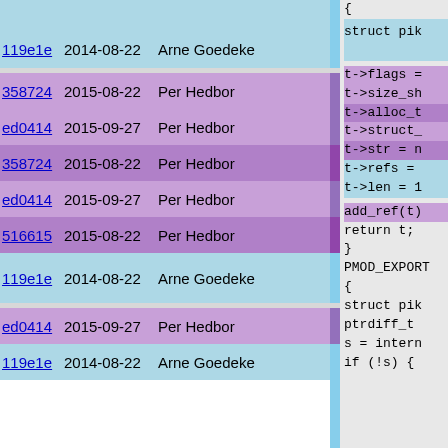| commit | date | author | code |
| --- | --- | --- | --- |
| 119e1e | 2014-08-22 | Arne Goedeke | struct pik |
| 358724 | 2015-08-22 | Per Hedbor | t->flags = |
| ed0414 | 2015-09-27 | Per Hedbor | t->size_sh |
| 358724 | 2015-08-22 | Per Hedbor | t->alloc_t |
| ed0414 | 2015-09-27 | Per Hedbor | t->struct_ |
| 516615 | 2015-08-22 | Per Hedbor | t->str = n |
| 119e1e | 2014-08-22 | Arne Goedeke | t->refs =
t->len = 1 |
| ed0414 | 2015-09-27 | Per Hedbor | add_ref(t) |
| 119e1e | 2014-08-22 | Arne Goedeke | return t;
}

PMOD_EXPORT

{
    struct pik
    ptrdiff_t

    s = intern

    if (!s) { |